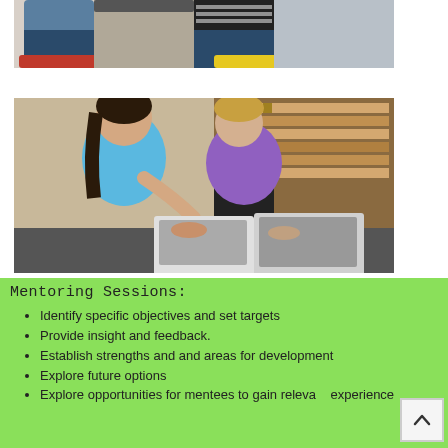[Figure (photo): Partial view of students sitting at a table, cropped at legs/torsos level, with colorful chairs]
[Figure (photo): Two students (a girl in a blue shirt and a boy in a purple shirt) working on laptops in a library]
Mentoring Sessions:
Identify specific objectives and set targets
Provide insight and feedback.
Establish strengths and and areas for development
Explore future options
Explore opportunities for mentees to gain relevant experience